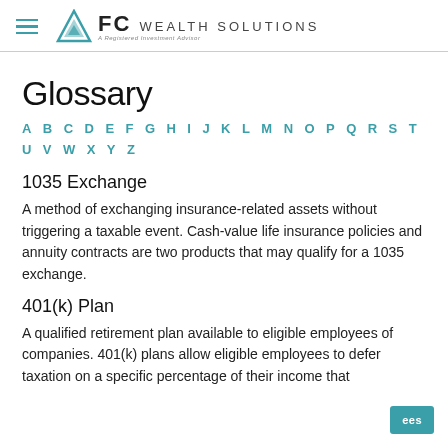FC WEALTH SOLUTIONS — A Registered Investment Advisor
Glossary
A B C D E F G H I J K L M N O P Q R S T U V W X Y Z
1035 Exchange
A method of exchanging insurance-related assets without triggering a taxable event. Cash-value life insurance policies and annuity contracts are two products that may qualify for a 1035 exchange.
401(k) Plan
A qualified retirement plan available to eligible employees of companies. 401(k) plans allow eligible employees to defer taxation on a specific percentage of their income that